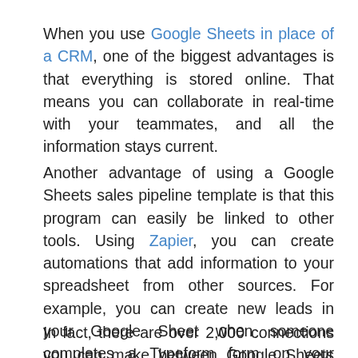When you use Google Sheets in place of a CRM, one of the biggest advantages is that everything is stored online. That means you can collaborate in real-time with your teammates, and all the information stays current.
Another advantage of using a Google Sheets sales pipeline template is that this program can easily be linked to other tools. Using Zapier, you can create automations that add information to your spreadsheet from other sources. For example, you can create new leads in your Google Sheet when someone completes a Typeform form on your website.
In fact, there are over 2,000 connections you can make between Google Sheets and other apps in